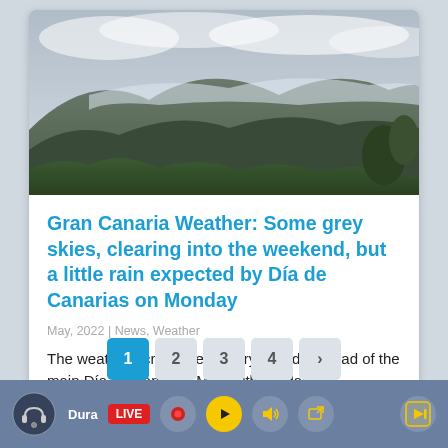[Figure (photo): Landscape photo of Gran Canaria mountains with green vegetation and cloudy grey skies]
Gran Canaria Weather: Some grey skies, clearing into the weekend, but a little rain expected by Día de Canarias on Monday
May, 2022 | News, Weather
The weather across the Canary Islands, ahead of the main Día de Canarias May 30th holiday is...
1 2 3 4 ›
Dura LIVE